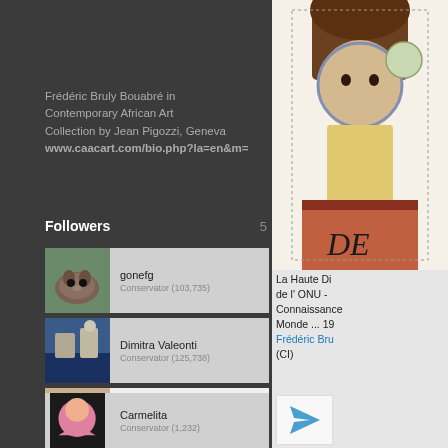Frédéric Bruly Bouabré in Contemporary African Art Collection by Jean Pigozzi, Geneva www.caacart.com/bio.php?la=en&m=
Followers 5
gonefg
Conservator (103,735)
Dimitra Valeonti
Conservator (125,738)
Aggeliki Papadomanolaki
Artist (Greece)
Carmelita
Conservator (1,232)
[Figure (illustration): Colored illustration artwork by Frédéric Bruly Bouabré, showing a figure with text 'DE' visible at bottom]
La Haute Di de l' ONU - Connaissance Monde ... 19 Frédéric Bru (CI)
[Figure (illustration): Blue paper airplane / send icon button]